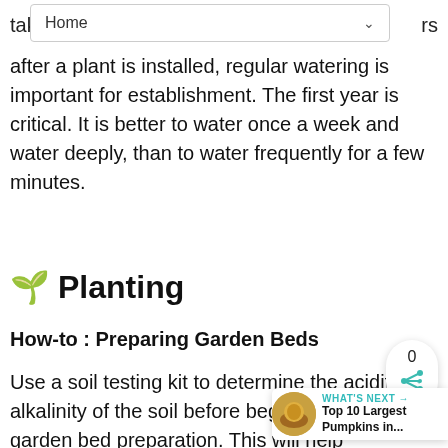Home
tak…rs after a plant is installed, regular watering is important for establishment. The first year is critical. It is better to water once a week and water deeply, than to water frequently for a few minutes.
🌱 Planting
How-to : Preparing Garden Beds
Use a soil testing kit to determine the acidity, alkalinity of the soil before beginning garden bed preparation. This will help determine which plants are best suited for your